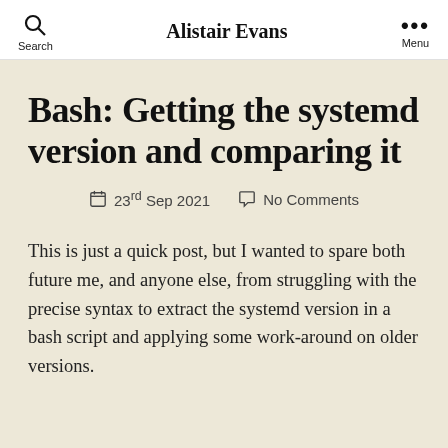Alistair Evans
Bash: Getting the systemd version and comparing it
23rd Sep 2021   No Comments
This is just a quick post, but I wanted to spare both future me, and anyone else, from struggling with the precise syntax to extract the systemd version in a bash script and applying some work-around on older versions.